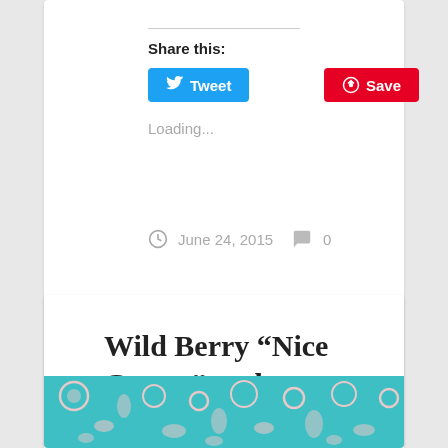Share this:
Tweet
Save
Loading...
June 24, 2015  0
Wild Berry “Nice Cream” and breaking free from unhealthy food thinking
[Figure (illustration): Decorative teal and pink floral/botanical pattern used as background image at bottom of page]